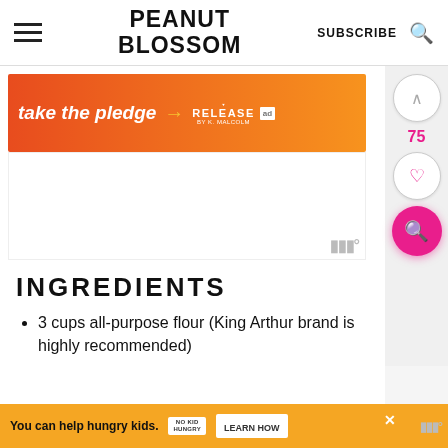PEANUT BLOSSOM
[Figure (screenshot): Advertisement banner: orange-red gradient background with text 'take the pledge' and arrow pointing to 'RELEASE' logo with ad badge]
[Figure (screenshot): White advertisement placeholder area with Mediavine logo watermark in bottom right]
INGREDIENTS
3 cups all-purpose flour (King Arthur brand is highly recommended)
[Figure (screenshot): Orange bottom advertisement bar: 'You can help hungry kids. No Kid Hungry - LEARN HOW' with close button and Mediavine logo]